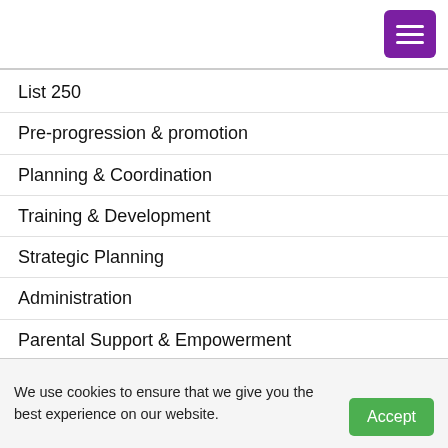List 250
Pre-progression & promotion
Planning & Coordination
Training & Development
Strategic Planning
Administration
Parental Support & Empowerment
Clusters – HoD; Teachers
Appeals
Foundation Phase – Compliance, Planning,
Assessment
Numeracy, Groupwork,
We use cookies to ensure that we give you the best experience on our website.